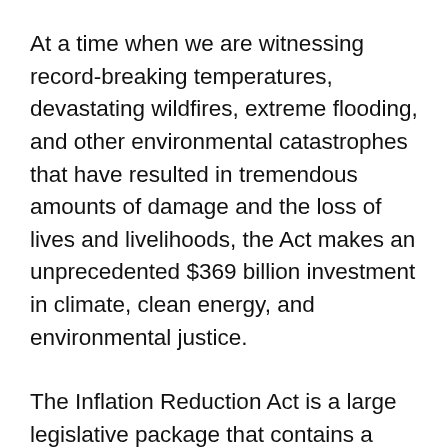At a time when we are witnessing record-breaking temperatures, devastating wildfires, extreme flooding, and other environmental catastrophes that have resulted in tremendous amounts of damage and the loss of lives and livelihoods, the Act makes an unprecedented $369 billion investment in climate, clean energy, and environmental justice.
The Inflation Reduction Act is a large legislative package that contains a number of provisions for healthcare, taxation, and climate. To make it easier to navigate, we've broken down the four key takeaways from the passage of this historic climate legislation that Openlanders need to know: